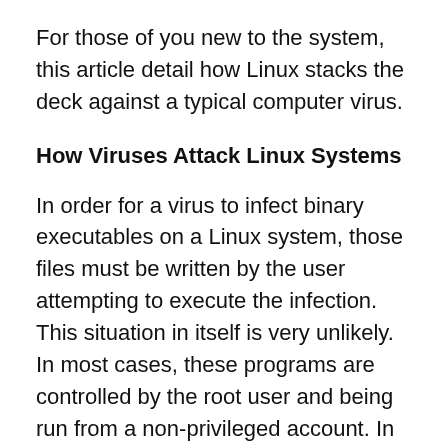For those of you new to the system, this article detail how Linux stacks the deck against a typical computer virus.
How Viruses Attack Linux Systems
In order for a virus to infect binary executables on a Linux system, those files must be written by the user attempting to execute the infection. This situation in itself is very unlikely. In most cases, these programs are controlled by the root user and being run from a non-privileged account. In a Linux environment, a user with the least